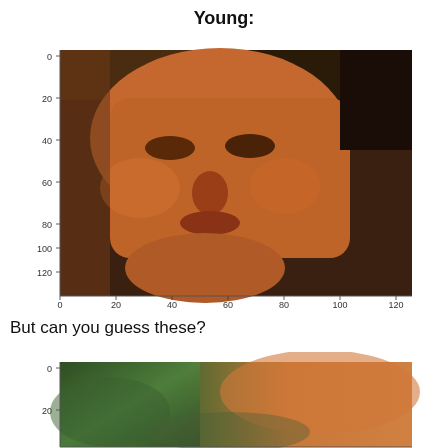Young:
[Figure (photo): A young man's face close-up portrait photo, shown with matplotlib-style axis ticks from 0 to 120 on both x and y axes.]
But can you guess these?
[Figure (photo): A partially visible blurred/abstracted face image shown at the bottom, with axis ticks starting at 0 and 20 visible on the y-axis.]